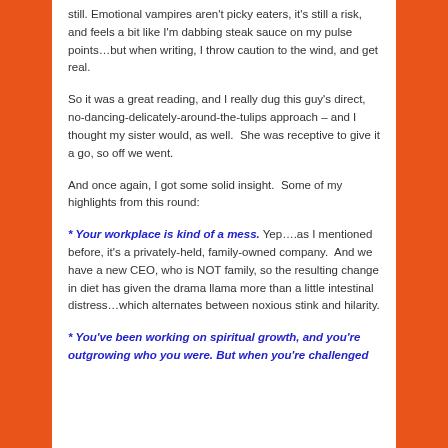still. Emotional vampires aren't picky eaters, it's still a risk, and feels a bit like I'm dabbing steak sauce on my pulse points…but when writing, I throw caution to the wind, and get real.
So it was a great reading, and I really dug this guy's direct, no-dancing-delicately-around-the-tulips approach – and I thought my sister would, as well.  She was receptive to give it a go, so off we went.
And once again, I got some solid insight.  Some of my highlights from this round:
* Your workplace is kind of a mess. Yep….as I mentioned before, it's a privately-held, family-owned company.  And we have a new CEO, who is NOT family, so the resulting change in diet has given the drama llama more than a little intestinal distress…which alternates between noxious stink and hilarity.
* You've been working on spiritual growth, and you're outgrowing who you were. But when you're challenged